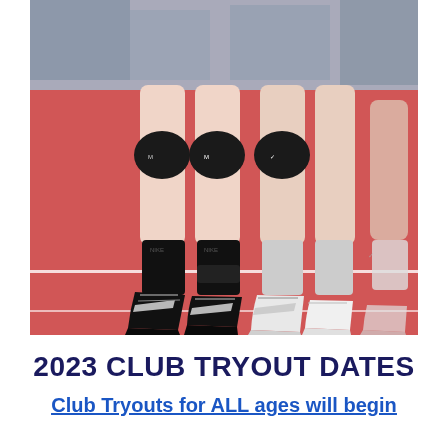[Figure (photo): Close-up photo of volleyball players' legs in knee pads, black athletic shoes (Mizuno and Nike), jumping or standing on a red/pink volleyball court floor.]
2023 CLUB TRYOUT DATES
Club Tryouts for ALL ages will begin